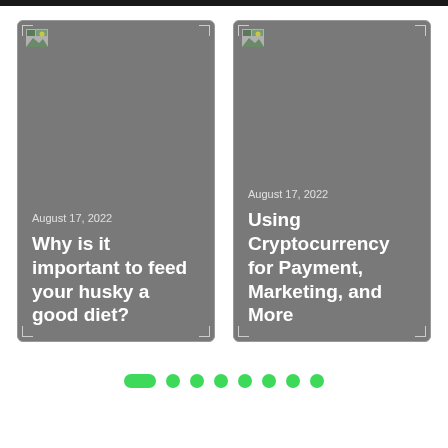[Figure (screenshot): Blog card with gray background showing date 'August 17, 2022' and title 'Why is it important to feed your husky a good diet?']
[Figure (screenshot): Blog card with gray background showing date 'August 17, 2022' and title 'Using Cryptocurrency for Payment, Marketing, and More']